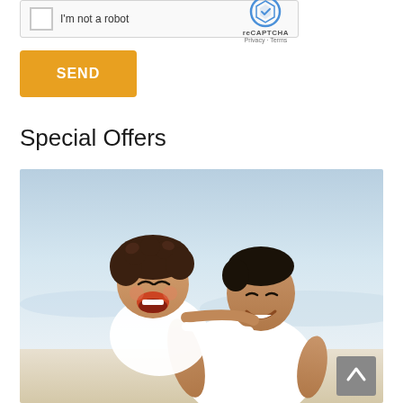[Figure (screenshot): reCAPTCHA widget with checkbox labeled 'I'm not a robot' and reCAPTCHA branding with Privacy and Terms links]
[Figure (other): Orange SEND button]
Special Offers
[Figure (photo): A laughing child riding piggyback on a smiling man, both wearing white shirts, at a beach with light sky background]